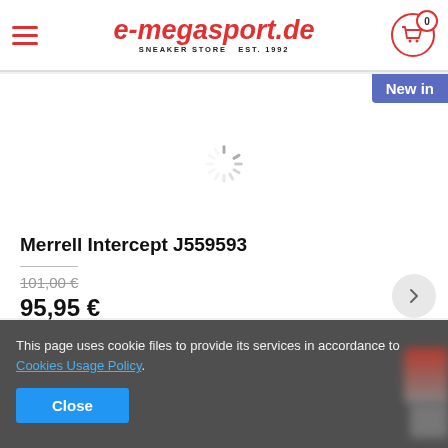e-megasport.de SNEAKER STORE EST. 1992
New in
[Figure (other): Loading spinner / activity indicator circle]
Merrell Intercept J559593
101,00 €
95,95 €
This page uses cookie files to provide its services in accordance to Cookies Usage Policy.
Close